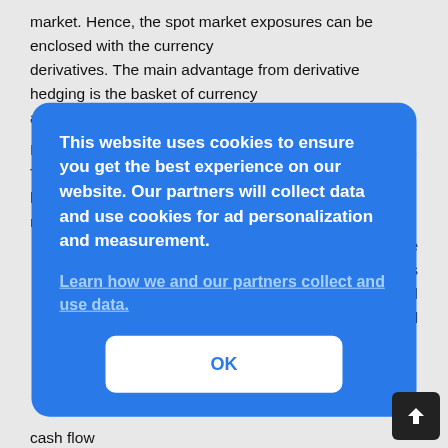market. Hence, the spot market exposures can be enclosed with the currency derivatives. The main advantage from derivative hedging is the basket of currency available.
Figure 1 describes the examples of currency derivatives. The derivatives can be hedged with other derivatives. In the foreign exchange market, currency derivatives
[partially obscured] ...e ...ncies ...nized ...cified
cash flow
[Figure (other): Cookie consent overlay dialog box with blue background. Text reads: 'This website uses cookies to ensure you get the best experience on our website. Our partners will collect data and use cookies for ad personalization and measurement.' A link reads: 'Learn how we and our partners collect and use data.' An OK button is shown at the bottom.]